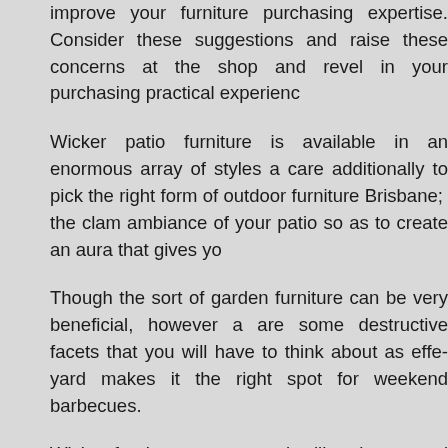improve your furniture purchasing expertise. Consider these suggestions and raise these concerns at the shop and revel in your purchasing practical experience.
Wicker patio furniture is available in an enormous array of styles and colors. You should care additionally to pick the right form of outdoor furniture Brisbane; you should consider the clam ambiance of your patio so as to create an aura that gives you.
Though the sort of garden furniture can be very beneficial, however, with this there are some destructive facets that you will have to think about as effectively. Your yard makes it the right spot for weekend barbecues.
Wicker furniture appears to be like elegant and may add a cozy look to any conservatory. Regardless of having been standard for 3 centuries, wicker didn't develop into the go-to materials for garden furniture until the nineteen.
The craft of wood working can be applied to several conclusion products and wood finishes including built in bookshelves and banisters and bathroom vanities. Cabinets are made within an off-web site cupboard store and so the conclusion cupboard builder.
If you like undertaking woodwork as being a pastime, use all the con low so probable. Scrap items of plywood or hard timber bring some...